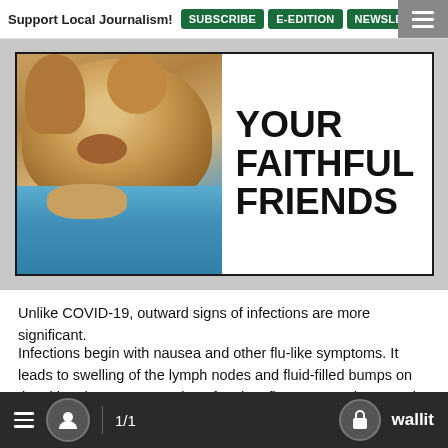Support Local Journalism! SUBSCRIBE E-EDITION NEWSLET
[Figure (photo): Banner image showing a fluffy dog/puppy lying on a blue blanket, next to bold text reading 'YOUR FAITHFUL FRIENDS']
Unlike COVID-19, outward signs of infections are more significant.
Infections begin with nausea and other flu-like symptoms. It leads to swelling of the lymph nodes and fluid-filled bumps on the skin. The current version often has first appeared as a rash in the genital area. It can spread through contact with infected bodily fluids, sores, and other skin-to-skin contact.
Monkeypox can also spread by contact with clothes or bedding of a person with lesions. Prolonged face-to-face contact without
≡  👤  1/1  🔒 wallit